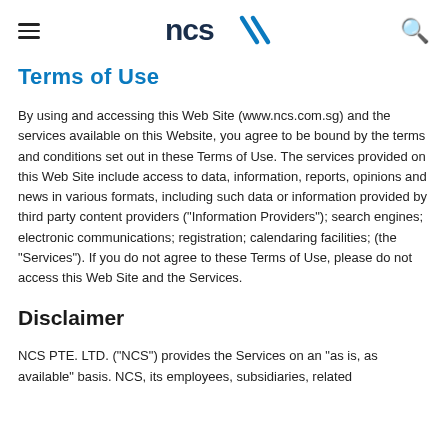NCS (logo)
Terms of Use
By using and accessing this Web Site (www.ncs.com.sg) and the services available on this Website, you agree to be bound by the terms and conditions set out in these Terms of Use. The services provided on this Web Site include access to data, information, reports, opinions and news in various formats, including such data or information provided by third party content providers ("Information Providers"); search engines; electronic communications; registration; calendaring facilities; (the "Services"). If you do not agree to these Terms of Use, please do not access this Web Site and the Services.
Disclaimer
NCS PTE. LTD. ("NCS") provides the Services on an "as is, as available" basis. NCS, its employees, subsidiaries, related